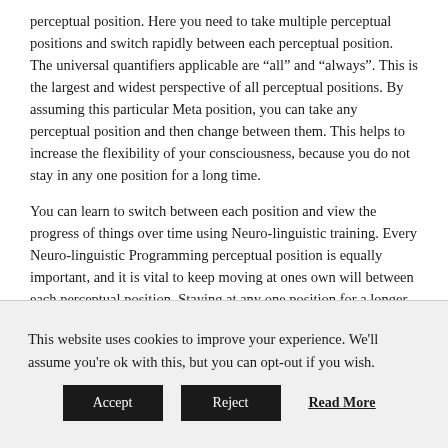perceptual position. Here you need to take multiple perceptual positions and switch rapidly between each perceptual position. The universal quantifiers applicable are “all” and “always”. This is the largest and widest perspective of all perceptual positions. By assuming this particular Meta position, you can take any perceptual position and then change between them. This helps to increase the flexibility of your consciousness, because you do not stay in any one position for a long time.
You can learn to switch between each position and view the progress of things over time using Neuro-linguistic training. Every Neuro-linguistic Programming perceptual position is equally important, and it is vital to keep moving at ones own will between each perceptual position. Staying at any one position for a longer time can have disastrous results.
This website uses cookies to improve your experience. We'll assume you're ok with this, but you can opt-out if you wish.